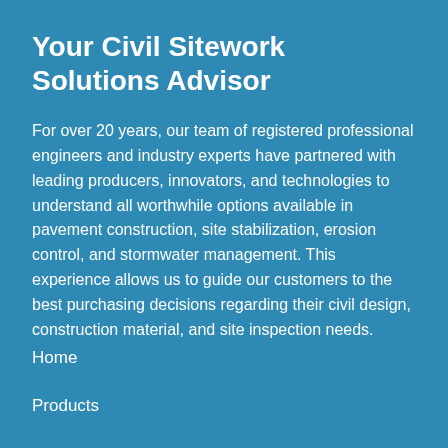Your Civil Sitework Solutions Advisor
For over 20 years, our team of registered professional engineers and industry experts have partnered with leading producers, innovators, and technologies to understand all worthwhile options available in pavement construction, site stabilization, erosion control, and stormwater management. This experience allows us to guide our customers to the best purchasing decisions regarding their civil design, construction material, and site inspection needs.
Home
Products